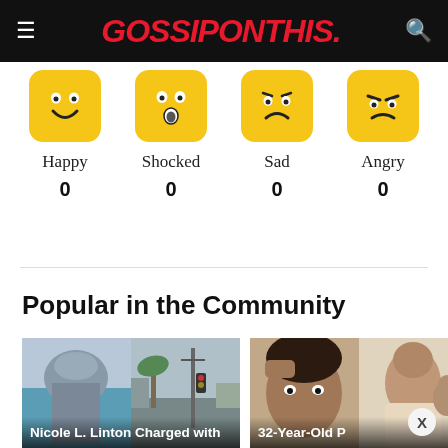GOSSIPONTHIS.
[Figure (infographic): Four emoji reaction buttons: Happy, Shocked, Sad, Angry, each showing count 0]
Happy 0
Shocked 0
Sad 0
Angry 0
Popular in the Community
[Figure (photo): Two article thumbnail cards side by side. First card shows two photos side-by-side: a person near ocean and a street scene with palm trees/utility pole. Caption reads 'Nicole L. Linton Charged with'. Second card shows two photos: a person's face and another person, caption reads '32-Year-Old P'. A close (X) button appears at bottom right.]